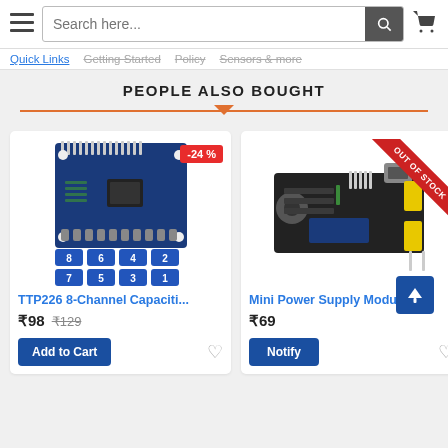[Figure (screenshot): Top navigation bar with hamburger menu, search box, and cart icon]
Quick Links   Getting Started   Policy   Sensors & more
PEOPLE ALSO BOUGHT
[Figure (photo): TTP226 8-Channel Capacitive Touch Sensor PCB with numbered buttons 1-8 and -24% badge]
TTP226 8-Channel Capaciti...
₹98  ₹129
Add to Cart
[Figure (photo): Mini Power Supply Module with USB port and yellow components, OUT OF STOCK ribbon]
Mini Power Supply Modu...
₹69
Notify